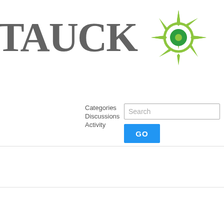[Figure (logo): Tauck logo with compass/starburst icon in green]
Categories  Discussions  Activity  Search  GO
tour with them.
JohnS  February 7
We are booked on the Australia Adventure: Adelaide, Tasmania & Sydney for mid October. That is only about 6 weeks after Tauck plans to open up tours to Australia. We haven't booked any air yet but I am reluctant to do so since